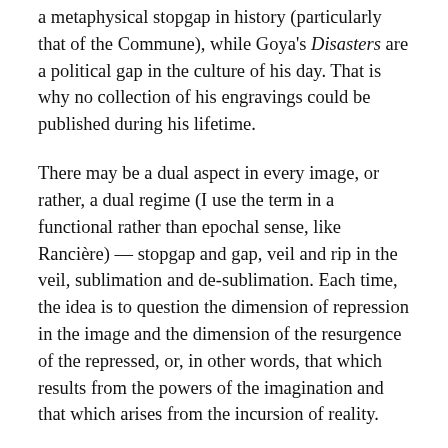a metaphysical stopgap in history (particularly that of the Commune), while Goya's Disasters are a political gap in the culture of his day. That is why no collection of his engravings could be published during his lifetime.
There may be a dual aspect in every image, or rather, a dual regime (I use the term in a functional rather than epochal sense, like Rancière) — stopgap and gap, veil and rip in the veil, sublimation and de-sublimation. Each time, the idea is to question the dimension of repression in the image and the dimension of the resurgence of the repressed, or, in other words, that which results from the powers of the imagination and that which arises from the incursion of reality.
You are one of the most prolific art historians, and even scholars in general. How do you write? Do you work on several texts in parallel (like for